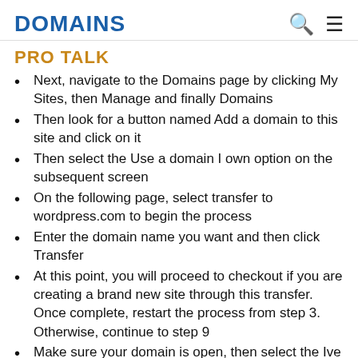DOMAINS
PRO TALK
Next, navigate to the Domains page by clicking My Sites, then Manage and finally Domains
Then look for a button named Add a domain to this site and click on it
Then select the Use a domain I own option on the subsequent screen
On the following page, select transfer to wordpress.com to begin the process
Enter the domain name you want and then click Transfer
At this point, you will proceed to checkout if you are creating a brand new site through this transfer. Once complete, restart the process from step 3. Otherwise, continue to step 9
Make sure your domain is open, then select the Ive